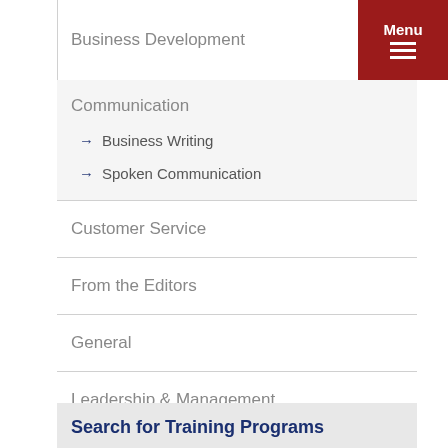Business Development
Communication
Business Writing
Spoken Communication
Customer Service
From the Editors
General
Leadership & Management
Sales and Marketing
Search for Training Programs